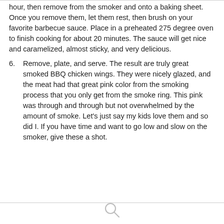hour, then remove from the smoker and onto a baking sheet. Once you remove them, let them rest, then brush on your favorite barbecue sauce. Place in a preheated 275 degree oven to finish cooking for about 20 minutes. The sauce will get nice and caramelized, almost sticky, and very delicious.
6. Remove, plate, and serve. The result are truly great smoked BBQ chicken wings. They were nicely glazed, and the meat had that great pink color from the smoking process that you only get from the smoke ring. This pink was through and through but not overwhelmed by the amount of smoke. Let's just say my kids love them and so did I. If you have time and want to go low and slow on the smoker, give these a shot.
[Figure (other): Search icon (magnifying glass) centered above a horizontal divider line at the bottom of the page]